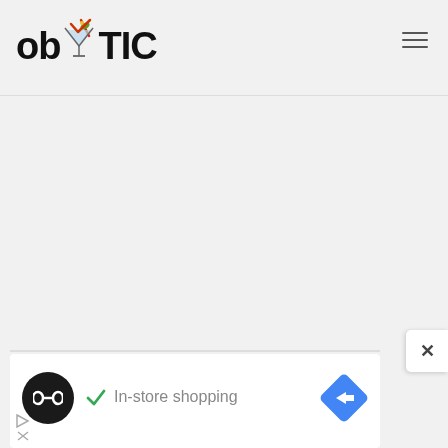[Figure (logo): obYTIC logo with cocktail glass emoji between 'ob' and 'TIC' text in bold black font]
[Figure (other): Hamburger menu icon with three horizontal lines, top right of header]
[Figure (screenshot): Website screenshot showing obYTIC header and large grey empty content area]
[Figure (other): Ad banner with dark circle logo showing infinity/link icon, blue diamond navigation arrow icon, green checkmark, and 'In-store shopping' text in grey]